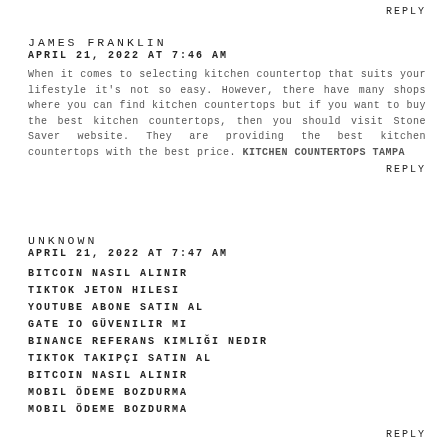REPLY
JAMES FRANKLIN
APRIL 21, 2022 AT 7:46 AM
When it comes to selecting kitchen countertop that suits your lifestyle it's not so easy. However, there have many shops where you can find kitchen countertops but if you want to buy the best kitchen countertops, then you should visit Stone Saver website. They are providing the best kitchen countertops with the best price. KITCHEN COUNTERTOPS TAMPA
REPLY
UNKNOWN
APRIL 21, 2022 AT 7:47 AM
BITCOIN NASIL ALINIR
TIKTOK JETON HILESI
YOUTUBE ABONE SATIN AL
GATE IO GÜVENILIR MI
BINANCE REFERANS KIMLIĞI NEDIR
TIKTOK TAKIPÇI SATIN AL
BITCOIN NASIL ALINIR
MOBIL ÖDEME BOZDURMA
MOBIL ÖDEME BOZDURMA
REPLY